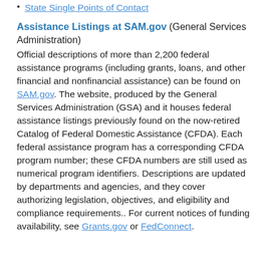State Single Points of Contact
Assistance Listings at SAM.gov (General Services Administration)
Official descriptions of more than 2,200 federal assistance programs (including grants, loans, and other financial and nonfinancial assistance) can be found on SAM.gov. The website, produced by the General Services Administration (GSA) and it houses federal assistance listings previously found on the now-retired Catalog of Federal Domestic Assistance (CFDA). Each federal assistance program has a corresponding CFDA program number; these CFDA numbers are still used as numerical program identifiers. Descriptions are updated by departments and agencies, and they cover authorizing legislation, objectives, and eligibility and compliance requirements.. For current notices of funding availability, see Grants.gov or FedConnect.